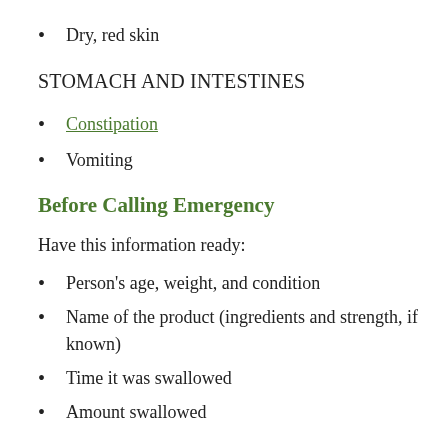Dry, red skin
STOMACH AND INTESTINES
Constipation
Vomiting
Before Calling Emergency
Have this information ready:
Person's age, weight, and condition
Name of the product (ingredients and strength, if known)
Time it was swallowed
Amount swallowed